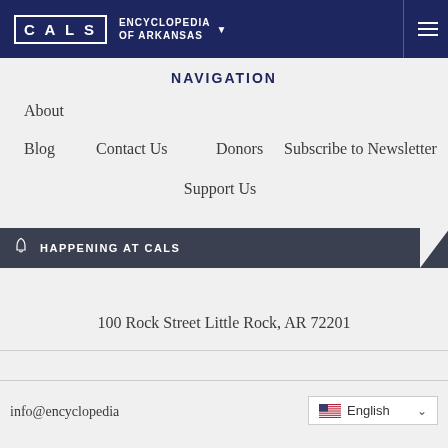CALS ENCYCLOPEDIA OF ARKANSAS
NAVIGATION
About
Blog
Contact Us
Donors
Subscribe to Newsletter
Support Us
HAPPENING AT CALS
100 Rock Street Little Rock, AR 72201
info@encyclopedia